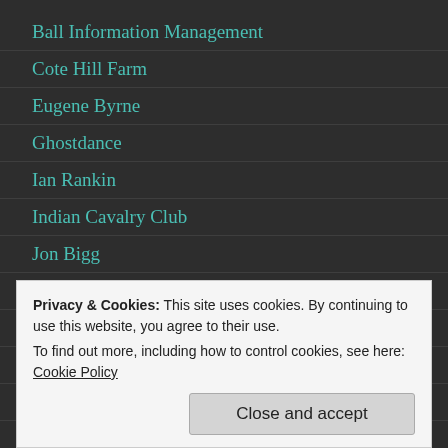Ball Information Management
Cote Hill Farm
Eugene Byrne
Ghostdance
Ian Rankin
Indian Cavalry Club
Jon Bigg
Kim Newman
Lincolnshire Poacher
Mab of the Faeries
Moorcock's Miscellany
Moore & Reppion
Privacy & Cookies: This site uses cookies. By continuing to use this website, you agree to their use.
To find out more, including how to control cookies, see here: Cookie Policy
Close and accept